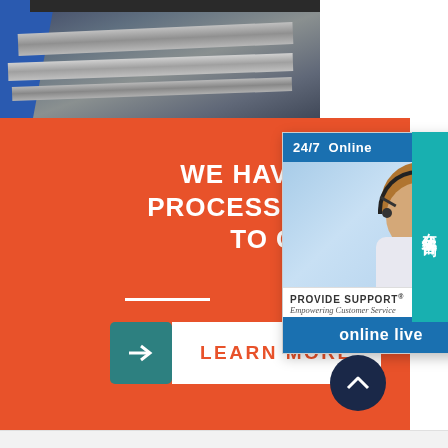[Figure (photo): Industrial worker in blue handling metal sheets or strips on machinery]
WE HAVE SOME ME... PROCESSING CAPACITY... TO CHOOSE
[Figure (illustration): Learn More button with teal arrow box and white text on orange background]
[Figure (screenshot): 24/7 Online support widget with Provide Support branding and headset agent photo, online live button, and Chinese sidebar text 在线咨询]